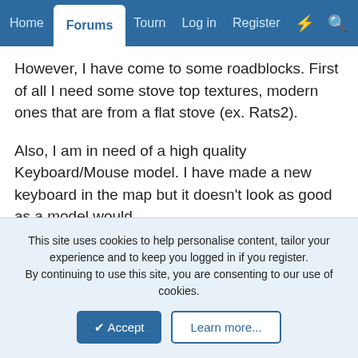Home | Forums | Tourn | Log in | Register
However, I have come to some roadblocks. First of all I need some stove top textures, modern ones that are from a flat stove (ex. Rats2).
Also, I am in need of a high quality Keyboard/Mouse model. I have made a new keyboard in the map but it doesn't look as good as a model would.
Furthurmore the outdoors needs the most revision. The terrain is pretty bad to say the least. I was going to try and use the "blended" textures from esf.wad but it wouldn't matter, the design of the terrain is just terrible. The only thing I am not skilled in is terrain design. I know the basics but nothing advanced like what DJ-Ready does.
This site uses cookies to help personalise content, tailor your experience and to keep you logged in if you register.
By continuing to use this site, you are consenting to our use of cookies.